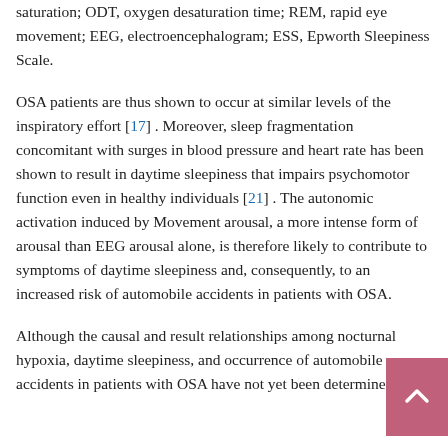saturation; ODT, oxygen desaturation time; REM, rapid eye movement; EEG, electroencephalogram; ESS, Epworth Sleepiness Scale.
OSA patients are thus shown to occur at similar levels of the inspiratory effort [17] . Moreover, sleep fragmentation concomitant with surges in blood pressure and heart rate has been shown to result in daytime sleepiness that impairs psychomotor function even in healthy individuals [21] . The autonomic activation induced by Movement arousal, a more intense form of arousal than EEG arousal alone, is therefore likely to contribute to symptoms of daytime sleepiness and, consequently, to an increased risk of automobile accidents in patients with OSA.
Although the causal and result relationships among nocturnal hypoxia, daytime sleepiness, and occurrence of automobile accidents in patients with OSA have not yet been determined, the